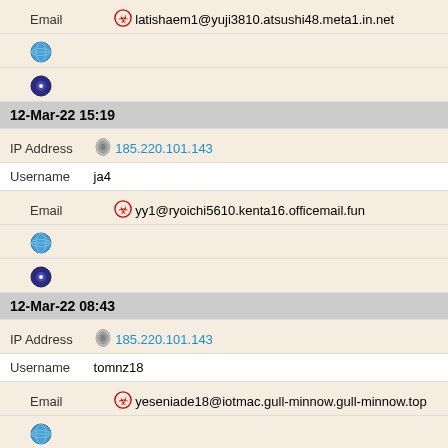Email latishaem1@yuji3810.atsushi48.meta1.in.net
[Figure (illustration): Globe icon]
[Figure (illustration): Tor/onion browser icon]
12-Mar-22 15:19
IP Address 185.220.101.143
Username ja4
Email yy1@ryoichi5610.kenta16.officemail.fun
[Figure (illustration): Globe icon]
[Figure (illustration): Tor/onion browser icon]
12-Mar-22 08:43
IP Address 185.220.101.143
Username tomnz18
Email yeseniade18@iotmac.gull-minnow.gull-minnow.top
[Figure (illustration): Globe icon]
[Figure (illustration): Two Tor/onion browser icons]
11-Mar-22 18:44
IP Address 185.220.101.143